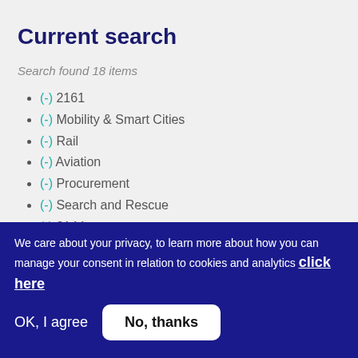Current search
Search found 18 items
(-) 2161
(-) Mobility & Smart Cities
(-) Rail
(-) Aviation
(-) Procurement
(-) Search and Rescue
(-) 2144
We care about your privacy, to learn more about how you can manage your consent in relation to cookies and analytics click here
OK, I agree   No, thanks